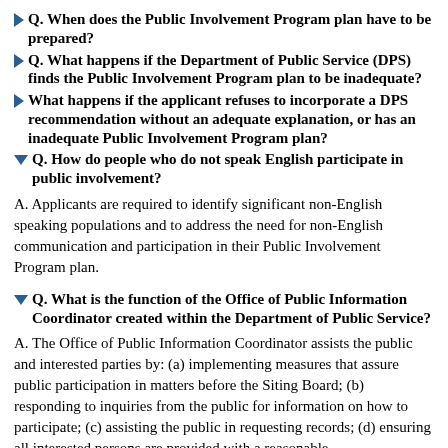Q. When does the Public Involvement Program plan have to be prepared?
Q. What happens if the Department of Public Service (DPS) finds the Public Involvement Program plan to be inadequate?
What happens if the applicant refuses to incorporate a DPS recommendation without an adequate explanation, or has an inadequate Public Involvement Program plan?
Q. How do people who do not speak English participate in public involvement?
A. Applicants are required to identify significant non-English speaking populations and to address the need for non-English communication and participation in their Public Involvement Program plan.
Q. What is the function of the Office of Public Information Coordinator created within the Department of Public Service?
A. The Office of Public Information Coordinator assists the public and interested parties by: (a) implementing measures that assure public participation in matters before the Siting Board; (b) responding to inquiries from the public for information on how to participate; (c) assisting the public in requesting records; (d) ensuring all interested persons are provided with a reasonable